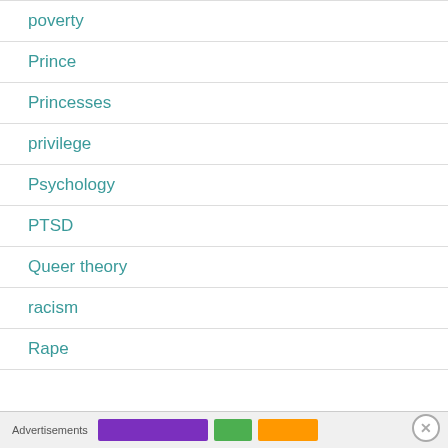poverty
Prince
Princesses
privilege
Psychology
PTSD
Queer theory
racism
Rape
Advertisements